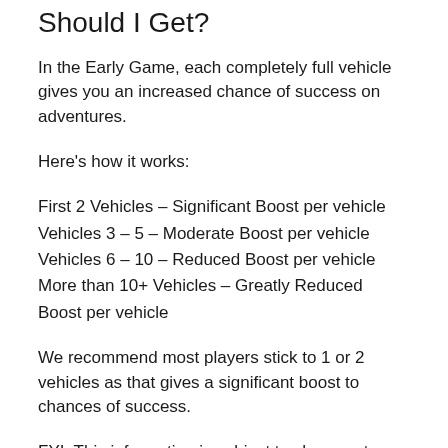Should I Get?
In the Early Game, each completely full vehicle gives you an increased chance of success on adventures.
Here's how it works:
First 2 Vehicles – Significant Boost per vehicle
Vehicles 3 – 5 – Moderate Boost per vehicle
Vehicles 6 – 10 – Reduced Boost per vehicle
More than 10+ Vehicles – Greatly Reduced Boost per vehicle
We recommend most players stick to 1 or 2 vehicles as that gives a significant boost to chances of success.
FYI: This information is subject to change at any time during Early Game development, so check in for updates on our Telegram or right here on CuteCrushies.com